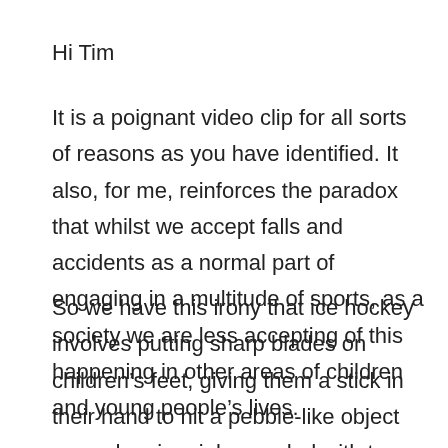Hi Tim
It is a poignant video clip for all sorts of reasons as you have identified. It also, for me, reinforces the paradox that whilst we accept falls and accidents as a normal part of engaging in a multitude of sports, as a society we are less accepting of this happening in other areas of children and young people’s lives.
So we have this irony that ice hockey involves putting sharp blades on children’s feet, giving them a stick in their hand to hit a pebble-like object around an ice rink crowded with two teams who are pitted against each other. Yet the moment a playground becomes icy, it remains